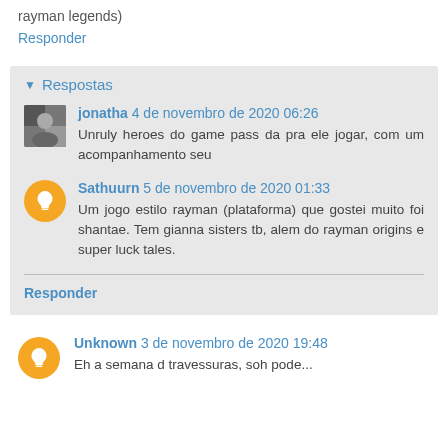rayman legends)
Responder
Respostas
jonatha 4 de novembro de 2020 06:26
Unruly heroes do game pass da pra ele jogar, com um acompanhamento seu
Sathuurn 5 de novembro de 2020 01:33
Um jogo estilo rayman (plataforma) que gostei muito foi shantae. Tem gianna sisters tb, alem do rayman origins e super luck tales.
Responder
Unknown 3 de novembro de 2020 19:48
Eh a semana d travessuras, soh pode...